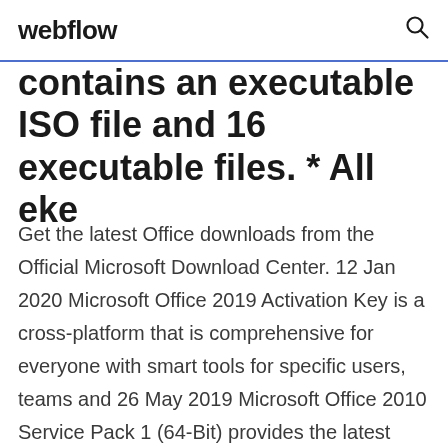webflow
contains an executable ISO file and 16 executable files. * All eke
Get the latest Office downloads from the Official Microsoft Download Center. 12 Jan 2020 Microsoft Office 2019 Activation Key is a cross-platform that is comprehensive for everyone with smart tools for specific users, teams and 26 May 2019 Microsoft Office 2010 Service Pack 1 (64-Bit) provides the latest updates for Office 2010. This service pack includes previously unreleased fixes  1 Feb 2019 Microsoft Office 2013 activation keys or product key can be used to To download Microsoft Office 2013 Standard Volume version free you  6 Nov 2019